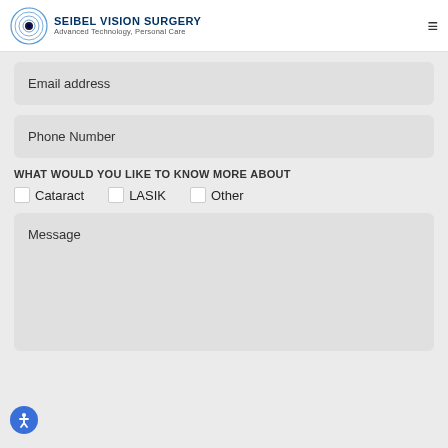SEIBEL VISION SURGERY — Advanced Technology, Personal Care
Email address
Phone Number
WHAT WOULD YOU LIKE TO KNOW MORE ABOUT
Cataract
LASIK
Other
Message